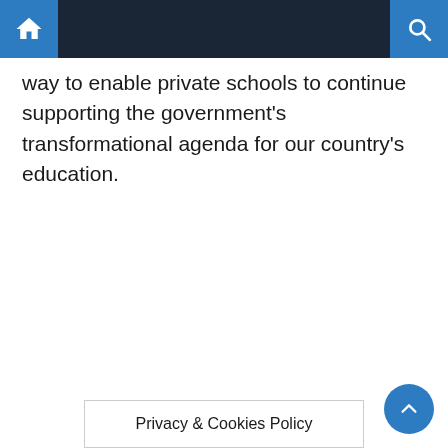Navigation bar with home and search icons
way to enable private schools to continue supporting the government's transformational agenda for our country's education.
Privacy & Cookies Policy